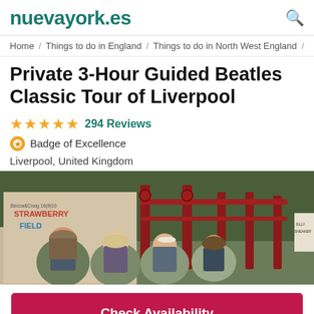nuevayork.es
Home / Things to do in England / Things to do in North West England /
Private 3-Hour Guided Beatles Classic Tour of Liverpool
★★★★★ 294 Reviews
Badge of Excellence
Liverpool, United Kingdom
[Figure (photo): Photo of four people smiling in front of the iconic red Strawberry Field gates in Liverpool, with graffiti on the wall behind them.]
Check Availability